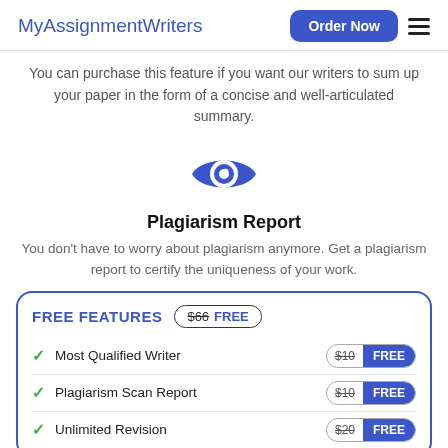MyAssignmentWriters
You can purchase this feature if you want our writers to sum up your paper in the form of a concise and well-articulated summary.
[Figure (illustration): Blue eye icon representing plagiarism report feature]
Plagiarism Report
You don't have to worry about plagiarism anymore. Get a plagiarism report to certify the uniqueness of your work.
| Feature | Price |
| --- | --- |
| Most Qualified Writer | $10 FREE |
| Plagiarism Scan Report | $10 FREE |
| Unlimited Revision | $20 FREE |